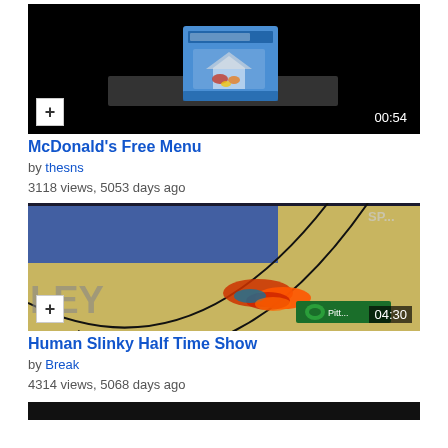[Figure (screenshot): Video thumbnail: McDonald's Free Menu, black background with a McDonald's box product image in center, duration 00:54]
McDonald's Free Menu
by thesns
3118 views, 5053 days ago
[Figure (screenshot): Video thumbnail: Human Slinky Half Time Show, basketball court with slinky toy on floor, duration 04:30]
Human Slinky Half Time Show
by Break
4314 views, 5068 days ago